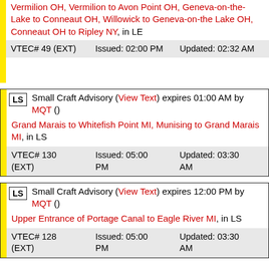Vermilion OH, Vermilion to Avon Point OH, Geneva-on-the-Lake to Conneaut OH, Willowick to Geneva-on-the Lake OH, Conneaut OH to Ripley NY, in LE
| VTEC# | Issued | Updated |
| --- | --- | --- |
| VTEC# 49 (EXT) | Issued: 02:00 PM | Updated: 02:32 AM |
Small Craft Advisory (View Text) expires 01:00 AM by MQT ()
Grand Marais to Whitefish Point MI, Munising to Grand Marais MI, in LS
| VTEC# | Issued | Updated |
| --- | --- | --- |
| VTEC# 130 (EXT) | Issued: 05:00 PM | Updated: 03:30 AM |
Small Craft Advisory (View Text) expires 12:00 PM by MQT ()
Upper Entrance of Portage Canal to Eagle River MI, in LS
| VTEC# | Issued | Updated |
| --- | --- | --- |
| VTEC# 128 (EXT) | Issued: 05:00 PM | Updated: 03:30 AM |